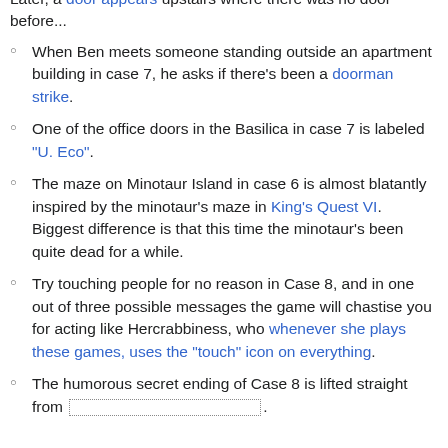Later, a door appears upstairs where there was no door before...
When Ben meets someone standing outside an apartment building in case 7, he asks if there's been a doorman strike.
One of the office doors in the Basilica in case 7 is labeled "U. Eco".
The maze on Minotaur Island in case 6 is almost blatantly inspired by the minotaur's maze in King's Quest VI. Biggest difference is that this time the minotaur's been quite dead for a while.
Try touching people for no reason in Case 8, and in one out of three possible messages the game will chastise you for acting like Hercrabbiness, who whenever she plays these games, uses the "touch" icon on everything.
The humorous secret ending of Case 8 is lifted straight from [spoiler].